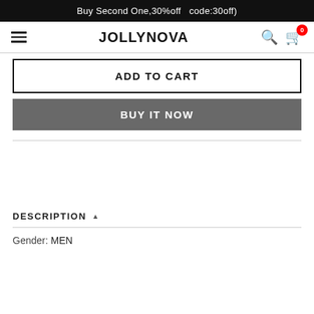Buy Second One,30%off  code:30off)
JOLLYNOVA
ADD TO CART
BUY IT NOW
DESCRIPTION ▲
Gender: MEN